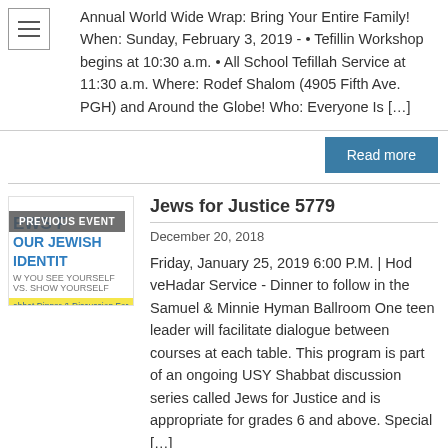[Figure (other): Hamburger/menu icon button]
Annual World Wide Wrap: Bring Your Entire Family! When: Sunday, February 3, 2019 - • Tefillin Workshop begins at 10:30 a.m. • All School Tefillah Service at 11:30 a.m. Where: Rodef Shalom (4905 Fifth Ave. PGH) and Around the Globe! Who: Everyone Is [...]
Read more
[Figure (other): Event thumbnail image with 'PREVIOUS EVENT' overlay, showing text 'EWS FOR YOUR JEWISH IDENTITY - HOW YOU SEE YOURSELF VS. SHOW YOURSELF' and a yellow banner 'Shabbat Dinner & Discussion For Adults Le']
Jews for Justice 5779
December 20, 2018
Friday, January 25, 2019 6:00 P.M. | Hod veHadar Service - Dinner to follow in the Samuel & Minnie Hyman Ballroom One teen leader will facilitate dialogue between courses at each table. This program is part of an ongoing USY Shabbat discussion series called Jews for Justice and is appropriate for grades 6 and above. Special [...]